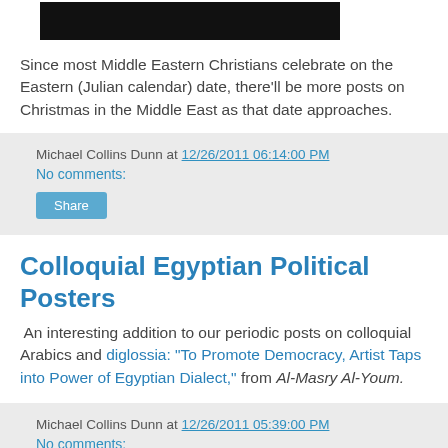[Figure (other): Black rectangular image/banner at the top of the page]
Since most Middle Eastern Christians celebrate on the Eastern (Julian calendar) date, there'll be more posts on Christmas in the Middle East as that date approaches.
Michael Collins Dunn at 12/26/2011 06:14:00 PM
No comments:
Share
Colloquial Egyptian Political Posters
An interesting addition to our periodic posts on colloquial Arabics and diglossia: "To Promote Democracy, Artist Taps into Power of Egyptian Dialect," from Al-Masry Al-Youm.
Michael Collins Dunn at 12/26/2011 05:39:00 PM
No comments: